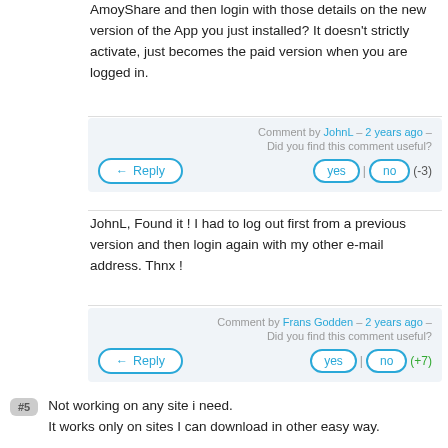AmoyShare and then login with those details on the new version of the App you just installed? It doesn't strictly activate, just becomes the paid version when you are logged in.
Comment by JohnL – 2 years ago –
Did you find this comment useful?
yes | no (-3)
← Reply
JohnL, Found it ! I had to log out first from a previous version and then login again with my other e-mail address. Thnx !
Comment by Frans Godden – 2 years ago –
Did you find this comment useful?
yes | no (+7)
← Reply
#5  Not working on any site i need.
It works only on sites I can download in other easy way.